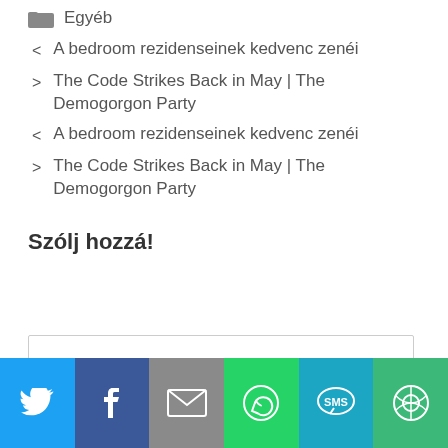Egyéb
< A bedroom rezidenseinek kedvenc zenéi
> The Code Strikes Back in May | The Demogorgon Party
< A bedroom rezidenseinek kedvenc zenéi
> The Code Strikes Back in May | The Demogorgon Party
Szólj hozzá!